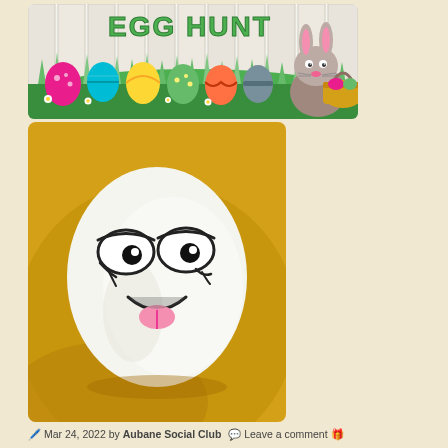[Figure (illustration): Easter egg hunt colorful illustration with decorated eggs in grass, a cartoon bunny holding a basket, and 'EGG HUNT' text at top]
[Figure (illustration): A white egg with cartoon googly eyes and a smiling open mouth face drawn on it, sitting on a golden yellow background]
Mar 24, 2022 by Aubane Social Club 💬 Leave a comment 🎁